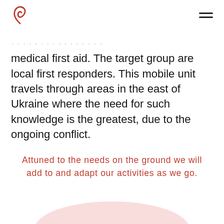[Logo] [Menu]
medical first aid. The target group are local first responders. This mobile unit travels through areas in the east of Ukraine where the need for such knowledge is the greatest, due to the ongoing conflict.
Attuned to the needs on the ground we will add to and adapt our activities as we go.